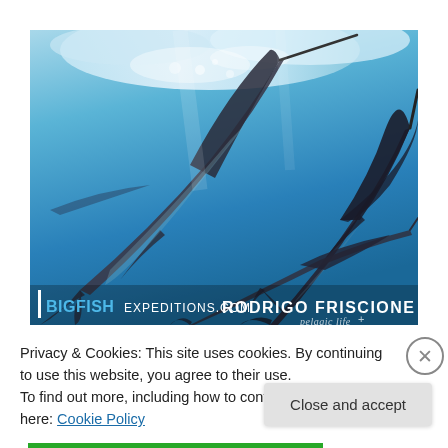[Figure (photo): Underwater photograph of multiple sailfish (marlins) swimming in clear blue ocean water, shot from below showing their distinctive long bills, dark dorsal fins, and streamlined bodies. Watermark text reads 'BIGFISHEXPEDITIONS.COM RODRIGO FRISCIONE' with a vertical white bar on the left and 'pelagic life+' in bottom right corner.]
Privacy & Cookies: This site uses cookies. By continuing to use this website, you agree to their use.
To find out more, including how to control cookies, see here: Cookie Policy
Close and accept